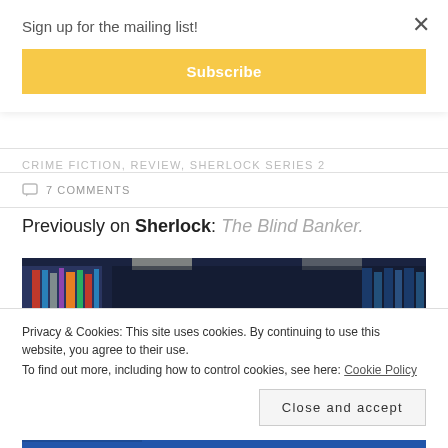Sign up for the mailing list!
Subscribe
CRIME FICTION, REVIEW, SHERLOCK SERIES 2
7 COMMENTS
Previously on Sherlock: The Blind Banker.
[Figure (photo): Dark interior scene of a library with bookshelves visible]
Privacy & Cookies: This site uses cookies. By continuing to use this website, you agree to their use.
To find out more, including how to control cookies, see here: Cookie Policy
Close and accept
[Figure (photo): Bottom strip of another image, appears blue]